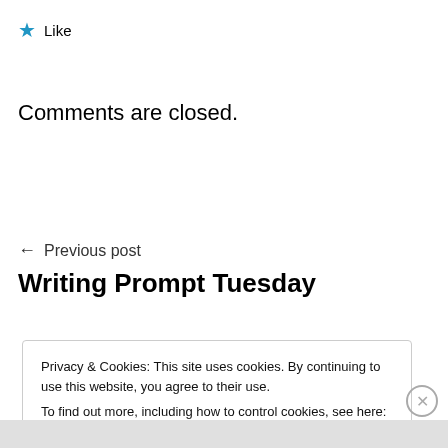★ Like
Comments are closed.
← Previous post
Writing Prompt Tuesday
Privacy & Cookies: This site uses cookies. By continuing to use this website, you agree to their use.
To find out more, including how to control cookies, see here: Cookie Policy
Close and accept